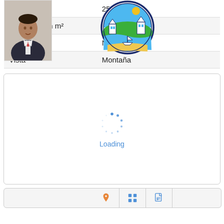| Property | Value |
| --- | --- |
| Terreno m² | 250 |
| Construccion m² | 180 |
| Amueblada | No |
| Vista | Montaña |
| Estacionamiento | Cochera |
[Figure (other): Map loading spinner with 'Loading' text in blue]
[Figure (other): Icon bar with map pin icon, list/grid icon, and document/PDF icon]
[Figure (photo): Agent headshot photo - man in suit]
[Figure (logo): Circular real estate company logo with illustrated beach/mountain scene]